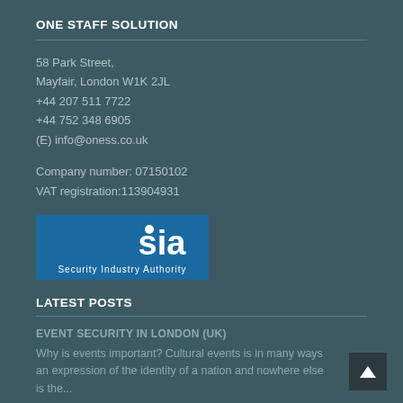ONE STAFF SOLUTION
58 Park Street,
Mayfair, London W1K 2JL
+44 207 511 7722
+44 752 348 6905
(E) info@oness.co.uk
Company number: 07150102
VAT registration:113904931
[Figure (logo): SIA Security Industry Authority logo — white text and graphic on blue background]
LATEST POSTS
EVENT SECURITY IN LONDON (UK)
Why is events important? Cultural events is in many ways an expression of the identity of a nation and nowhere else is the...